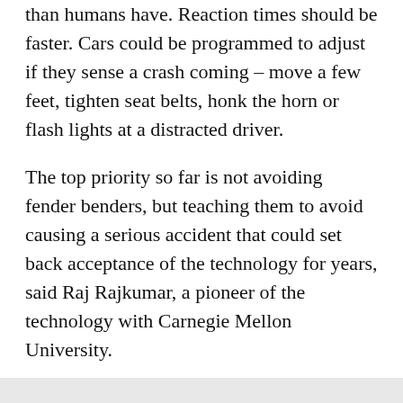than humans have. Reaction times should be faster. Cars could be programmed to adjust if they sense a crash coming – move a few feet, tighten seat belts, honk the horn or flash lights at a distracted driver.
The top priority so far is not avoiding fender benders, but teaching them to avoid causing a serious accident that could set back acceptance of the technology for years, said Raj Rajkumar, a pioneer of the technology with Carnegie Mellon University.
The national rate for reported "property-damage-only crashes" is about 0.3 per 100,000 miles driven, according to the National Highway Traffic Safety Administration.